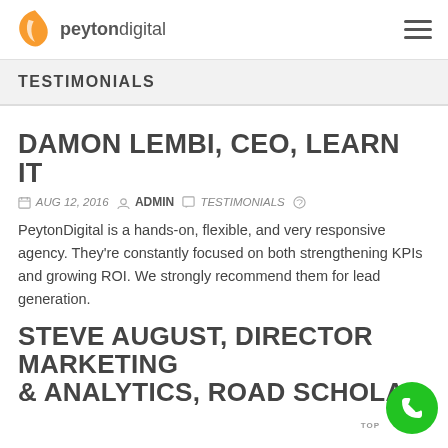peytondigital
TESTIMONIALS
DAMON LEMBI, CEO, LEARN IT
AUG 12, 2016   ADMIN   TESTIMONIALS
PeytonDigital is a hands-on, flexible, and very responsive agency. They're constantly focused on both strengthening KPIs and growing ROI. We strongly recommend them for lead generation.
STEVE AUGUST, DIRECTOR MARKETING & ANALYTICS, ROAD SCHOLAR